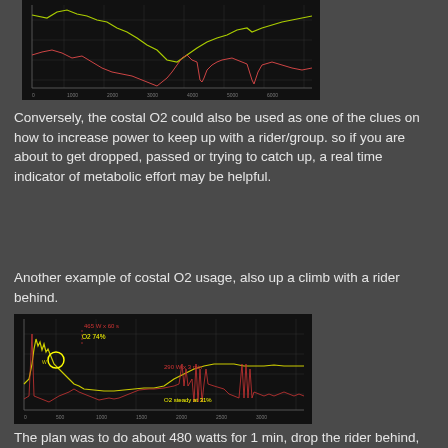[Figure (continuous-plot): Multi-line chart showing power and costal O2 data over time during a cycling climb. Yellow/green line shows power output, red/pink line shows costal O2 measurements. Dark background with grid lines.]
Conversely, the costal O2 could also be used as one of the clues on how to increase power to keep up with a rider/group. so if you are about to get dropped, passed or trying to catch up, a real time indicator of metabolic effort may be helpful.
Another example of costal O2 usage, also up a climb with a rider behind.
[Figure (continuous-plot): Multi-line chart on dark background showing cycling power and costal O2 data. Annotations include '465 W x 60 s' in red, 'O2 74%' in yellow, '290 W x 3 min' in red, 'O2 steady at 31%' in yellow. A yellow circle highlights a point on the waveform. Yellow line shows O2 measurements, red spiky lines show power data.]
The plan was to do about 480 watts for 1 min, drop the rider behind, watch costal O2 (to avoid the "danger zone") and